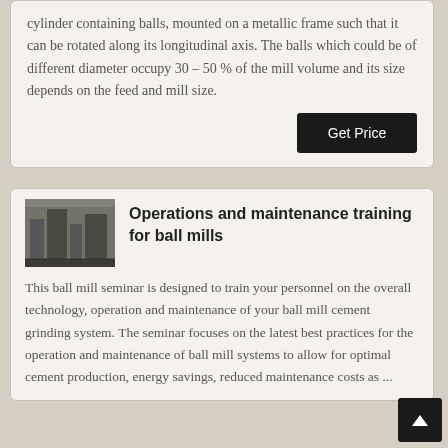cylinder containing balls, mounted on a metallic frame such that it can be rotated along its longitudinal axis. The balls which could be of different diameter occupy 30 – 50 % of the mill volume and its size depends on the feed and mill size.
[Figure (photo): Industrial ball mill facility interior showing large machinery and equipment in a plant setting]
Operations and maintenance training for ball mills
This ball mill seminar is designed to train your personnel on the overall technology, operation and maintenance of your ball mill cement grinding system. The seminar focuses on the latest best practices for the operation and maintenance of ball mill systems to allow for optimal cement production, energy savings, reduced maintenance costs as ...